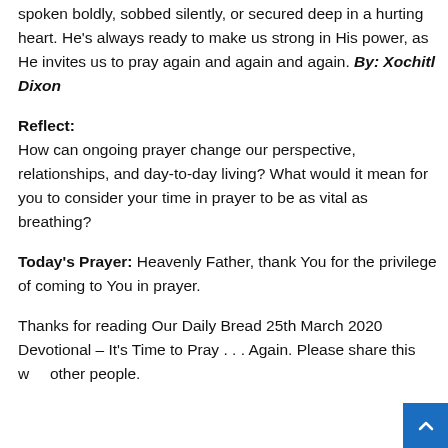spoken boldly, sobbed silently, or secured deep in a hurting heart. He's always ready to make us strong in His power, as He invites us to pray again and again and again. By: Xochitl Dixon
Reflect:
How can ongoing prayer change our perspective, relationships, and day-to-day living? What would it mean for you to consider your time in prayer to be as vital as breathing?
Today's Prayer: Heavenly Father, thank You for the privilege of coming to You in prayer.
Thanks for reading Our Daily Bread 25th March 2020 Devotional – It's Time to Pray . . . Again. Please share this with other people.